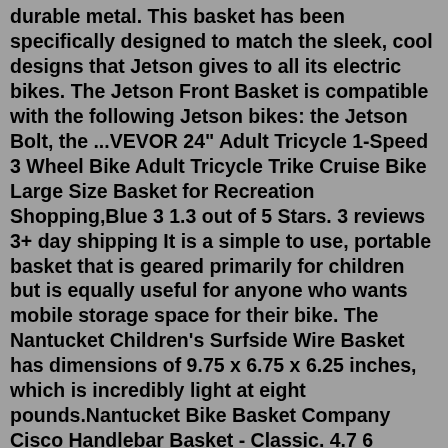durable metal. This basket has been specifically designed to match the sleek, cool designs that Jetson gives to all its electric bikes. The Jetson Front Basket is compatible with the following Jetson bikes: the Jetson Bolt, the ...VEVOR 24" Adult Tricycle 1-Speed 3 Wheel Bike Adult Tricycle Trike Cruise Bike Large Size Basket for Recreation Shopping,Blue 3 1.3 out of 5 Stars. 3 reviews 3+ day shipping It is a simple to use, portable basket that is geared primarily for children but is equally useful for anyone who wants mobile storage space for their bike. The Nantucket Children's Surfside Wire Basket has dimensions of 9.75 x 6.75 x 6.25 inches, which is incredibly light at eight pounds.Nantucket Bike Basket Company Cisco Handlebar Basket - Classic. 4.7 6 Reviews. Item #792807. Top Rated. Honey. This product is not available. Shop similar products. The classic-shape Cisco bike basket is made from strong and durable rattan. It will dress up your bike and carry your farmer's market purchases.Shop eBikes, baskets, and accessories at Flyer. Electric Bike Front Basket | Flyer